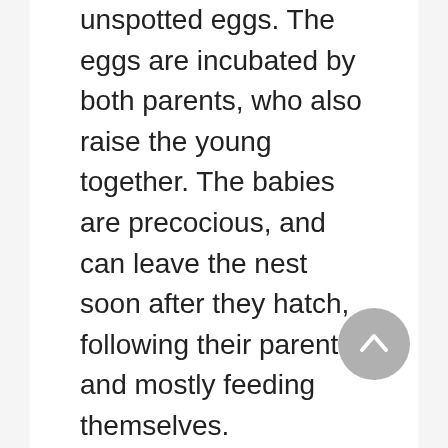unspotted eggs. The eggs are incubated by both parents, who also raise the young together. The babies are precocious, and can leave the nest soon after they hatch, following their parents and mostly feeding themselves. Screamers are monogamous, and pair for life.
The horned screamer (Anhima cornuta) has a 6-in (15 cm) long, forward-hanging, horny projection on its forehead, probably important in species recognition, or in courting...